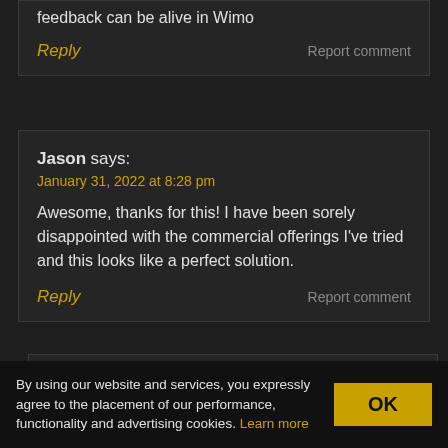feedback can be alive in Wimo
Reply   Report comment
Jason says:
January 31, 2022 at 8:28 pm
Awesome, thanks for this! I have been sorely disappointed with the commercial offerings I've tried and this looks like a perfect solution.
Reply   Report comment
Jason says:
January 31, 2022 at 8:29 pm
By using our website and services, you expressly agree to the placement of our performance, functionality and advertising cookies. Learn more